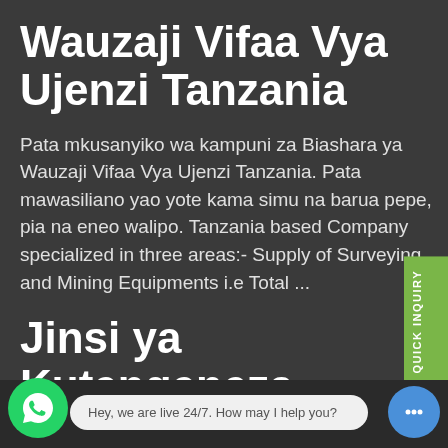Wauzaji Vifaa Vya Ujenzi Tanzania
Pata mkusanyiko wa kampuni za Biashara ya Wauzaji Vifaa Vya Ujenzi Tanzania. Pata mawasiliano yao yote kama simu na barua pepe, pia na eneo walipo. Tanzania based Company specialized in three areas:- Supply of Surveying and Mining Equipments i.e Total ...
Jinsi ya Kutengeneza Mizinga ya Nyuki ora ya Ki
QUICK INQUIRY
Hey, we are live 24/7. How may I help you?